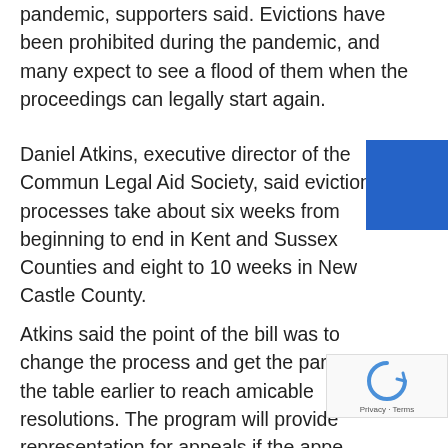pandemic, supporters said. Evictions have been prohibited during the pandemic, and many expect to see a flood of them when the proceedings can legally start again.
Daniel Atkins, executive director of the Community Legal Aid Society, said eviction processes take about six weeks from beginning to end in Kent and Sussex Counties and eight to 10 weeks in New Castle County.
Atkins said the point of the bill was to change the process and get the parties to the table earlier to reach amicable resolutions. The program will provide representation for appeals if the appeal doesn't have merit, he said.